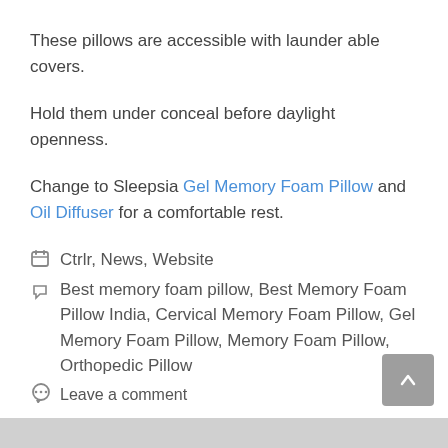These pillows are accessible with launder able covers.
Hold them under conceal before daylight openness.
Change to Sleepsia Gel Memory Foam Pillow and Oil Diffuser for a comfortable rest.
Ctrlr, News, Website
Best memory foam pillow, Best Memory Foam Pillow India, Cervical Memory Foam Pillow, Gel Memory Foam Pillow, Memory Foam Pillow, Orthopedic Pillow
Leave a comment